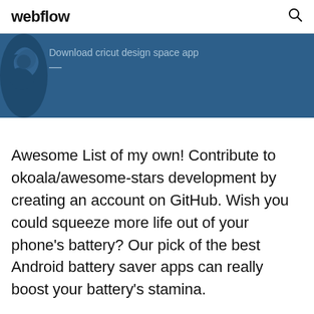webflow
[Figure (screenshot): Dark blue banner with a blue bird/logo silhouette on the left and text 'Download cricut design space app']
Awesome List of my own! Contribute to okoala/awesome-stars development by creating an account on GitHub. Wish you could squeeze more life out of your phone's battery? Our pick of the best Android battery saver apps can really boost your battery's stamina.